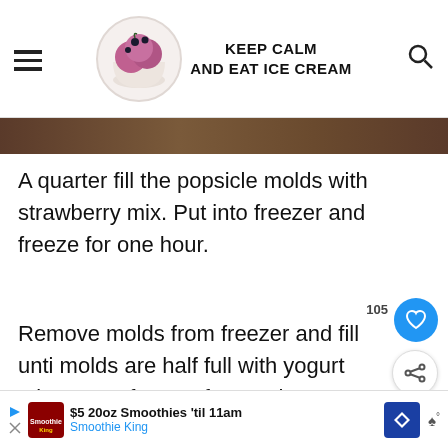KEEP CALM AND EAT ICE CREAM
[Figure (photo): Dark brown wooden background strip at top of content area]
A quarter fill the popsicle molds with strawberry mix. Put into freezer and freeze for one hour.
Remove molds from freezer and fill until molds are half full with yogurt mix. Return to freezer for one hour.
Remove from freezer and fill until molds
[Figure (infographic): What's Next panel showing strawberry popsicles thumbnail]
$5 20oz Smoothies 'til 11am Smoothie King